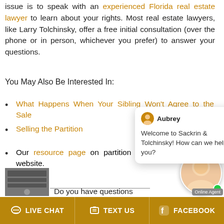issue is to speak with an experienced Florida real estate lawyer to learn about your rights. Most real estate lawyers, like Larry Tolchinsky, offer a free initial consultation (over the phone or in person, whichever you prefer) to answer your questions.
You May Also Be Interested In:
What Happens When Your Sibling Won't Agree to the Sale [link text, partially obscured]
Selling th[e Property - Florida Partition] [link text, partially obscured]
Our resource page on partition lawsuits on our main website.
[Figure (screenshot): Chat popup with avatar of Aubrey, text: Welcome to Sackrin & Tolchinsky! How can we help you? with X close button]
Do you have questions
LIVE CHAT   TEXT US   FACEBOOK